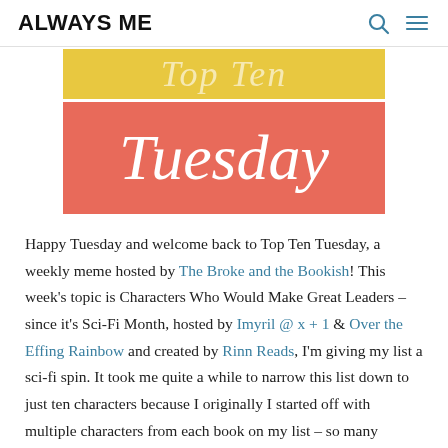ALWAYS ME
[Figure (illustration): Top Ten Tuesday logo banner: yellow background with 'Top Ten' text in light italic, and coral/salmon background with large white italic 'Tuesday' text below]
Happy Tuesday and welcome back to Top Ten Tuesday, a weekly meme hosted by The Broke and the Bookish!  This week's topic is Characters Who Would Make Great Leaders – since it's Sci-Fi Month, hosted by Imyril @ x + 1  & Over the Effing Rainbow and created by Rinn Reads, I'm giving my list a sci-fi spin.  It took me quite a while to narrow this list down to just ten characters because I originally I started off with multiple characters from each book on my list – so many fantastic characters!  Here we